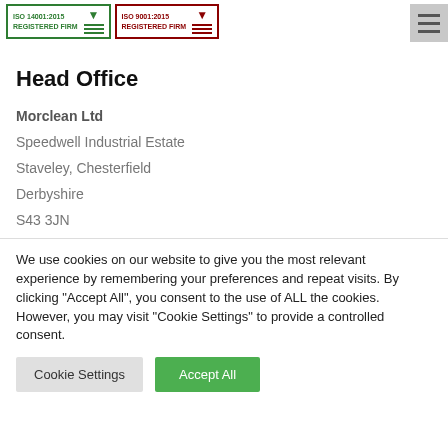[Figure (logo): ISO 14001:2015 Registered Firm certification badge in green border with downward arrow and horizontal lines]
[Figure (logo): ISO 9001:2015 Registered Firm certification badge in dark red border with downward arrow and horizontal lines]
[Figure (other): Hamburger menu icon (three horizontal lines) in grey box]
Head Office
Morclean Ltd
Speedwell Industrial Estate
Staveley, Chesterfield
Derbyshire
S43 3JN
We use cookies on our website to give you the most relevant experience by remembering your preferences and repeat visits. By clicking "Accept All", you consent to the use of ALL the cookies. However, you may visit "Cookie Settings" to provide a controlled consent.